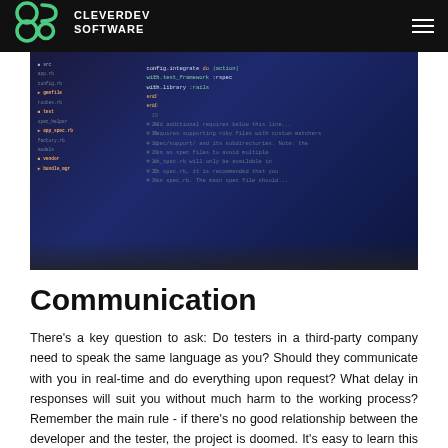CLEVERDEV SOFTWARE
[Figure (photo): A laptop screen displaying code in a dark-themed IDE with blue and orange syntax highlighting, shown in a dark background environment.]
Communication
There's a key question to ask: Do testers in a third-party company need to speak the same language as you? Should they communicate with you in real-time and do everything upon request? What delay in responses will suit you without much harm to the working process?Remember the main rule - if there's no good relationship between the developer and the tester, the project is doomed. It's easy to learn this rule, don't forget it.